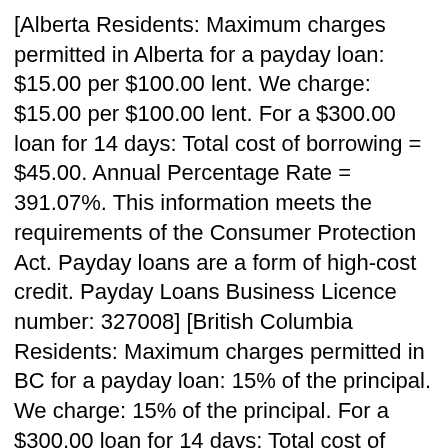[Alberta Residents: Maximum charges permitted in Alberta for a payday loan: $15.00 per $100.00 lent. We charge: $15.00 per $100.00 lent. For a $300.00 loan for 14 days: Total cost of borrowing = $45.00. Annual Percentage Rate = 391.07%. This information meets the requirements of the Consumer Protection Act. Payday loans are a form of high-cost credit. Payday Loans Business Licence number: 327008] [British Columbia Residents: Maximum charges permitted in BC for a payday loan: 15% of the principal. We charge: 15% of the principal. For a $300.00 loan for 14 days: Total cost of borrowing = $45.00. Total to be repaid = $351.00. Annual Percentage Rate = 391.07% This information meets the requirements of the Business Practices and Consumer Protection Act. Licence Number 50034] [Ontario Residents: Maximum Allowable Cost per $100.00 Borrowed: $15.00. Our Cost per $100.00 Borrowed: $15.00. Example: Your $500 loan for 14 days Your $300.00 loan for 14 days. Amount Advanced: $500.00 Total Cost of Borrowing: $75.00 (391.07% APR) Total To Repay: $575.00